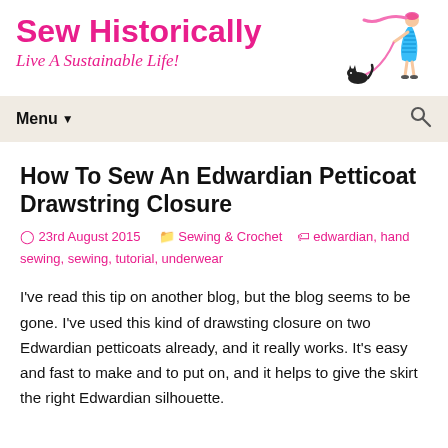Sew Historically
Live A Sustainable Life!
[Figure (illustration): Illustration of a stylish woman in a teal dress walking a black cat on a pink leash, with pink scarf flowing]
Menu
How To Sew An Edwardian Petticoat Drawstring Closure
23rd August 2015   Sewing & Crochet   edwardian, hand sewing, sewing, tutorial, underwear
I've read this tip on another blog, but the blog seems to be gone. I've used this kind of drawsting closure on two Edwardian petticoats already, and it really works. It's easy and fast to make and to put on, and it helps to give the skirt the right Edwardian silhouette.